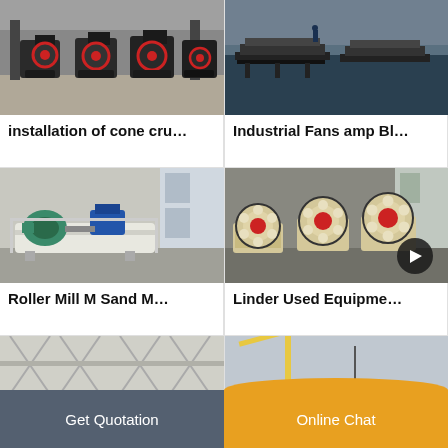[Figure (photo): Multiple cone crushers in an industrial facility, heavy black and red machinery on factory floor]
[Figure (photo): Industrial fans or blowers floating on water, large flat metal structures on a body of water with a person visible]
installation of cone cru…
Industrial Fans amp Bl…
[Figure (photo): Roller mill or sand making machine on a white metal base, industrial machinery in a factory setting]
[Figure (photo): Multiple jaw crushers with large red and cream flywheels arranged in a warehouse, Linder used equipment]
Roller Mill M Sand M…
Linder Used Equipme…
[Figure (photo): Partial view of industrial building interior, steel structure visible]
[Figure (photo): Partial view of crane or lifting equipment outdoors]
Get Quotation
Online Chat